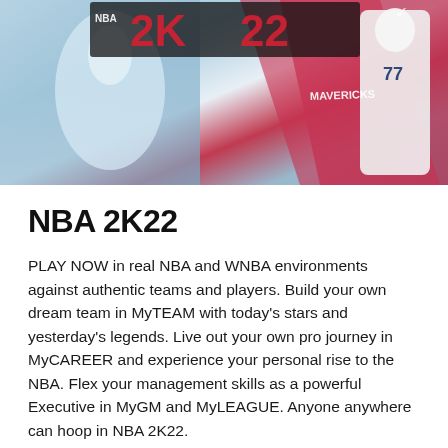[Figure (photo): NBA 2K22 game cover art showing basketball players including a Mavericks player wearing number 77, with blue, red and white color scheme and the NBA 2K22 logo]
NBA 2K22
PLAY NOW in real NBA and WNBA environments against authentic teams and players. Build your own dream team in MyTEAM with today’s stars and yesterday’s legends. Live out your own pro journey in MyCAREER and experience your personal rise to the NBA. Flex your management skills as a powerful Executive in MyGM and MyLEAGUE. Anyone anywhere can hoop in NBA 2K22.
Features